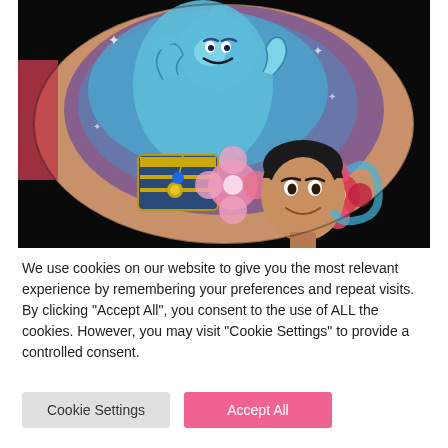[Figure (photo): A colorful tattoo on a person's skin depicting the Genie and Aladdin characters from the Disney animated film Aladdin, with pink and red flowers, blue swirls, and a magic lamp with a gold chain against a dark background.]
We use cookies on our website to give you the most relevant experience by remembering your preferences and repeat visits. By clicking “Accept All”, you consent to the use of ALL the cookies. However, you may visit "Cookie Settings" to provide a controlled consent.
Cookie Settings
Accept All